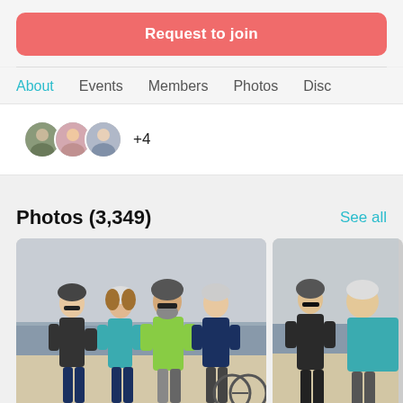Request to join
About   Events   Members   Photos   Disc
+4
Photos (3,349)
See all
[Figure (photo): Four cyclists wearing helmets posing on a beach on a cloudy day. One person wears a bright green jacket, another wears a teal blue jacket.]
[Figure (photo): Partial view of two cyclists wearing helmets on a beach, one in dark clothing and one in teal, with the ocean visible in the background.]